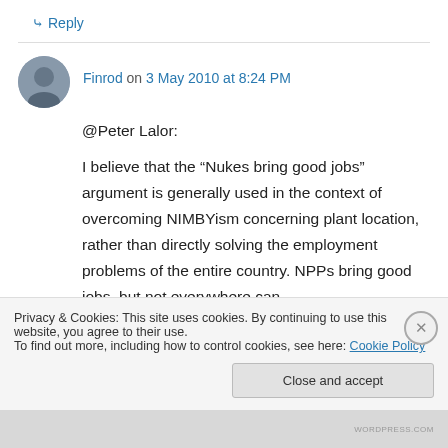↳ Reply
Finrod on 3 May 2010 at 8:24 PM
@Peter Lalor:

I believe that the “Nukes bring good jobs” argument is generally used in the context of overcoming NIMBYism concerning plant location, rather than directly solving the employment problems of the entire country. NPPs bring good jobs, but not everywhere can
Privacy & Cookies: This site uses cookies. By continuing to use this website, you agree to their use.
To find out more, including how to control cookies, see here: Cookie Policy
Close and accept